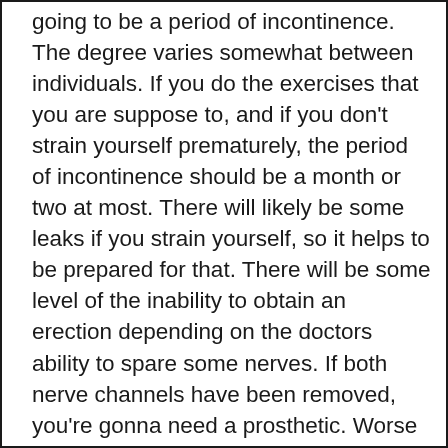going to be a period of incontinence. The degree varies somewhat between individuals. If you do the exercises that you are suppose to, and if you don't strain yourself prematurely, the period of incontinence should be a month or two at most. There will likely be some leaks if you strain yourself, so it helps to be prepared for that. There will be some level of the inability to obtain an erection depending on the doctors ability to spare some nerves. If both nerve channels have been removed, you're gonna need a prosthetic. Worse things could happen, you could be 6 feet under. Finally, the third major deal to a lot of guys is the fact that your pecker is gonna be a little shorter. Every dude knows how long his dick is, and he's gonna know if it's shorter. This is a rarely talked about side effect, because dudes just don't want to talk about these three serious issues that can be a little humiliating. The doctor talks about the shorter pecker issue during the presurgery brief, and he explains the fact that he has cut a couple of centimeters out of the